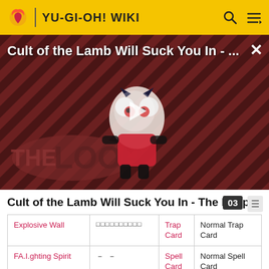YU-GI-OH! WIKI
[Figure (screenshot): Video thumbnail for 'Cult of the Lamb Will Suck You In - ...' with a play button overlay, showing an animated lamb character on a striped red/dark background with 'THE LOOP' text.]
Cult of the Lamb Will Suck You In - The Loop
| Name | Japanese | Card Type | Property |
| --- | --- | --- | --- |
| Explosive Wall | □□□□□□□□□□ | Trap Card | Normal Trap Card |
| FA.I.ghting Spirit | — — | Spell Card | Normal Spell Card |